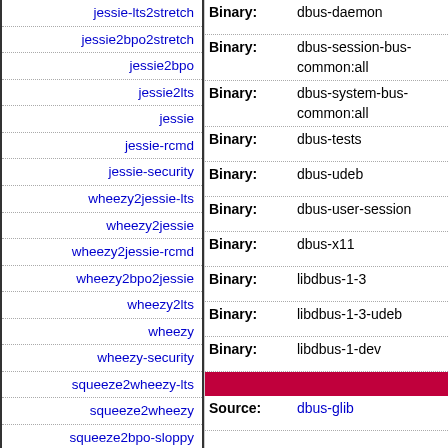jessie-lts2stretch
jessie2bpo2stretch
jessie2bpo
jessie2lts
jessie
jessie-rcmd
jessie-security
wheezy2jessie-lts
wheezy2jessie
wheezy2jessie-rcmd
wheezy2bpo2jessie
wheezy2lts
wheezy
wheezy-security
squeeze2wheezy-lts
squeeze2wheezy
squeeze2bpo-sloppy
squeeze2bpo2wheezy
| Field | Value |
| --- | --- |
| Binary: | dbus-daemon |
| Binary: | dbus-session-bus-common:all |
| Binary: | dbus-system-bus-common:all |
| Binary: | dbus-tests |
| Binary: | dbus-udeb |
| Binary: | dbus-user-session |
| Binary: | dbus-x11 |
| Binary: | libdbus-1-3 |
| Binary: | libdbus-1-3-udeb |
| Binary: | libdbus-1-dev |
| Source: | dbus-glib |